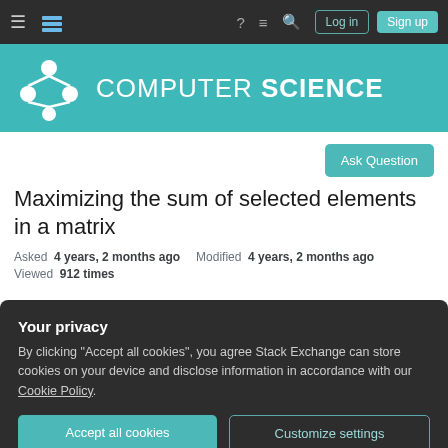Computer Science Stack Exchange — navigation bar
[Figure (screenshot): Computer Science Stack Exchange site header with teal background, molecule logo, and COMPUTER SCIENCE text]
Ask Question
Maximizing the sum of selected elements in a matrix
Asked 4 years, 2 months ago   Modified 4 years, 2 months ago
Viewed 912 times
Your privacy
By clicking "Accept all cookies", you agree Stack Exchange can store cookies on your device and disclose information in accordance with our Cookie Policy.
Accept all cookies   Customize settings
Select exactly n elements from A (n × n) such that